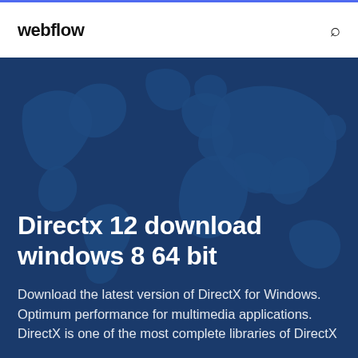webflow
Directx 12 download windows 8 64 bit
Download the latest version of DirectX for Windows. Optimum performance for multimedia applications. DirectX is one of the most complete libraries of DirectX